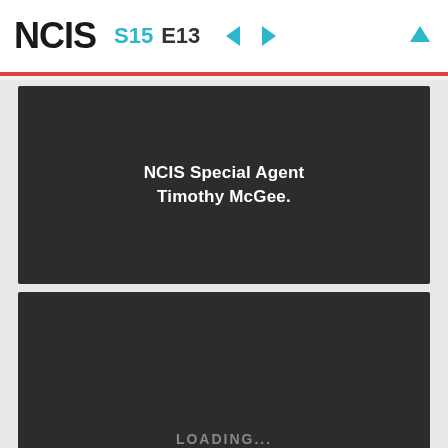NCIS S15 E13
[Figure (screenshot): Dark video panel showing subtitle text: NCIS Special Agent Timothy McGee.]
[Figure (screenshot): Dark video panel with LOADING... text in center and subtitle Stop! Stop! at bottom]
[Figure (screenshot): Dark video panel, partially visible at bottom of page]